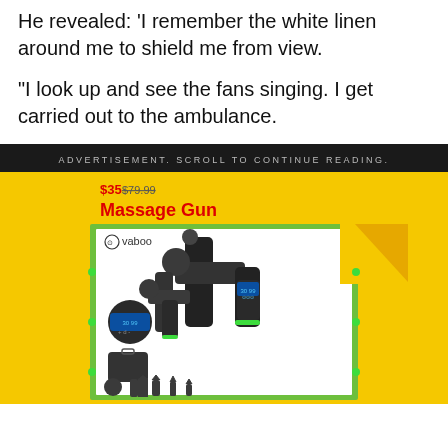He revealed: 'I remember the white linen around me to shield me from view.
“I look up and see the fans singing. I get carried out to the ambulance.
ADVERTISEMENT. SCROLL TO CONTINUE READING.
[Figure (photo): Advertisement for Vaboo Massage Gun product showing two massage guns, a carrying case, a circular control panel, and five attachment heads on a yellow and green background with price shown.]